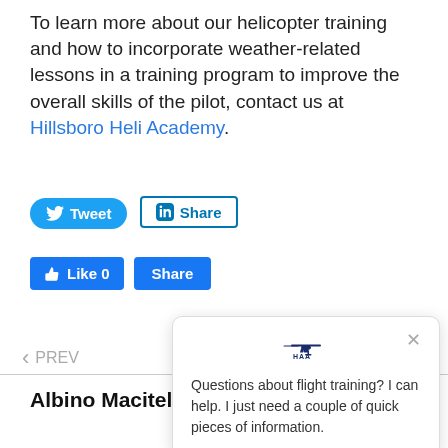To learn more about our helicopter training and how to incorporate weather-related lessons in a training program to improve the overall skills of the pilot, contact us at Hillsboro Heli Academy.
[Figure (infographic): Twitter Tweet button (blue rounded), LinkedIn Share button (outlined)]
[Figure (infographic): Facebook Like 0 button and Facebook Share button (both blue)]
[Figure (infographic): Chat popup with HAA logo, close X button, and text: Questions about flight training? I can help. I just need a couple of quick pieces of information. Teal chat bubble button in bottom right.]
PREV
Albino Macitela 5/27/2021, 6:00:39 PM